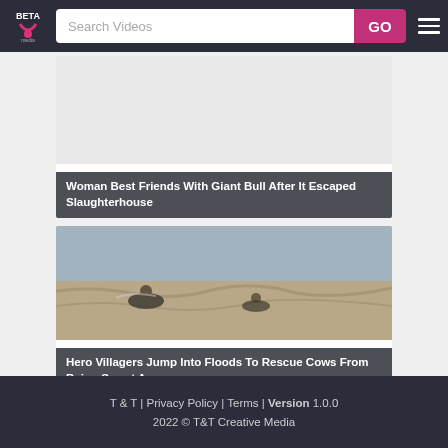BETA | Search Videos | GO
[Figure (screenshot): Video thumbnail with white/light background - Woman Best Friends With Giant Bull After It Escaped Slaughterhouse]
Woman Best Friends With Giant Bull After It Escaped Slaughterhouse
[Figure (photo): People wading through flood waters with muddy turbulent water, appearing to rescue animals]
Hero Villagers Jump Into Floods To Rescue Cows From Being Swept Away
T & T | Privacy Policy | Terms | Version 1.0.0
2022 © T&T Creative Media